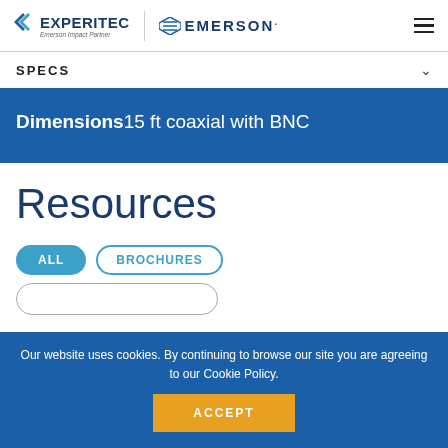EXPERITEC | Emerson Impact Partner | EMERSON.
SPECS
Dimensions 15 ft coaxial with BNC
Resources
ALL   BROCHURES
Our website uses cookies. By continuing to browse our site you are agreeing to our Cookie Policy.
ACCEPT